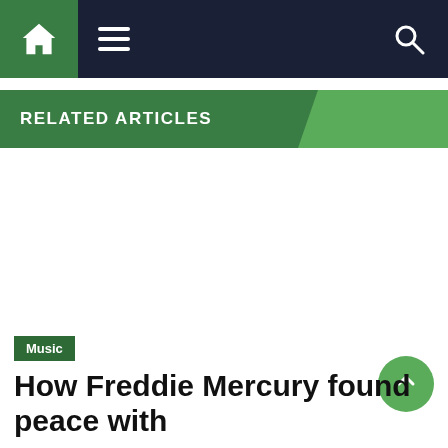Navigation bar with home, menu, and search icons
RELATED ARTICLES
Music
How Freddie Mercury found peace with